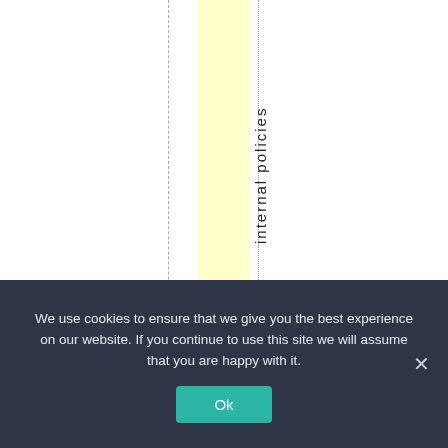[Figure (other): Document page fragment showing vertical dashed and dotted guide lines with a yellow highlighted column and vertical rotated text reading 'internal policies']
We use cookies to ensure that we give you the best experience on our website. If you continue to use this site we will assume that you are happy with it.
Ok